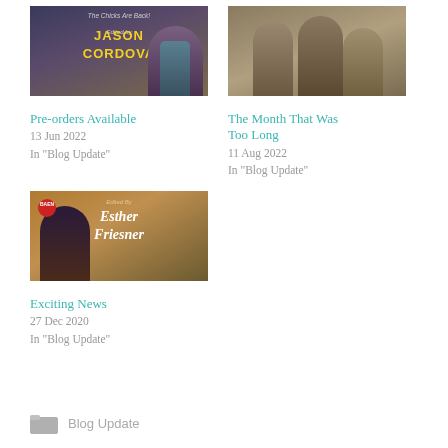[Figure (photo): Book cover for anthology edited by Jason Cordova, showing a woman with tattoos holding a weapon]
Pre-orders Available
13 Jun 2022
In "Blog Update"
[Figure (photo): Book cover showing armored soldiers or robots in a desert landscape]
The Month That Was Too Long
11 Aug 2022
In "Blog Update"
[Figure (photo): Book cover for anthology edited by Esther Friesner, showing a woman in historical costume]
Exciting News
27 Dec 2020
In "Blog Update"
Blog Update